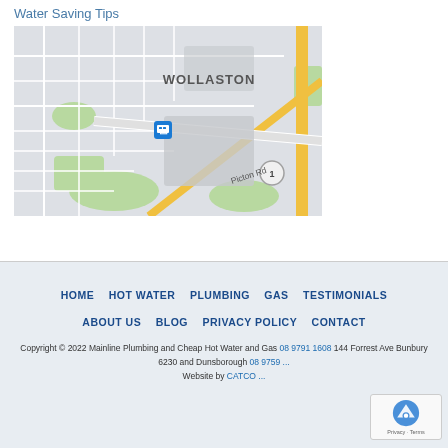Water Saving Tips
[Figure (map): Google Maps view showing the Wollaston area in Bunbury, Australia, with Picton Rd visible and a bus stop marker icon near the center.]
HOME  HOT WATER  PLUMBING  GAS  TESTIMONIALS  ABOUT US  BLOG  PRIVACY POLICY  CONTACT
Copyright © 2022 Mainline Plumbing and Cheap Hot Water and Gas 08 9791 1608 144 Forrest Ave Bunbury 6230 and Dunsborough 08 9759 ... Website by CATCO ...